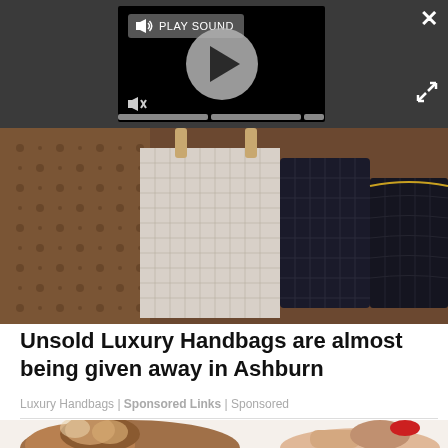[Figure (screenshot): Video player overlay with dark background, play button, PLAY SOUND label, mute icon, progress bars, close X button and expand arrows icon]
[Figure (photo): Luxury handbags displayed together including Louis Vuitton monogram and checkered pattern bags, Chanel quilted black bags]
Unsold Luxury Handbags are almost being given away in Ashburn
Luxury Handbags | Sponsored Links | Sponsored
[Figure (illustration): Illustration of a fluffy brown dog and a woman's arm/hand holding a red high heel shoe]